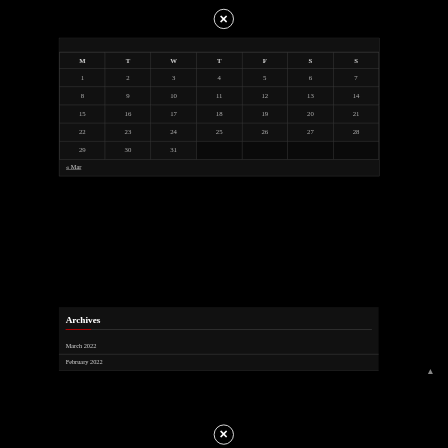| M | T | W | T | F | S | S |
| --- | --- | --- | --- | --- | --- | --- |
| 1 | 2 | 3 | 4 | 5 | 6 | 7 |
| 8 | 9 | 10 | 11 | 12 | 13 | 14 |
| 15 | 16 | 17 | 18 | 19 | 20 | 21 |
| 22 | 23 | 24 | 25 | 26 | 27 | 28 |
| 29 | 30 | 31 |  |  |  |  |
« Mar
Archives
March 2022
February 2022